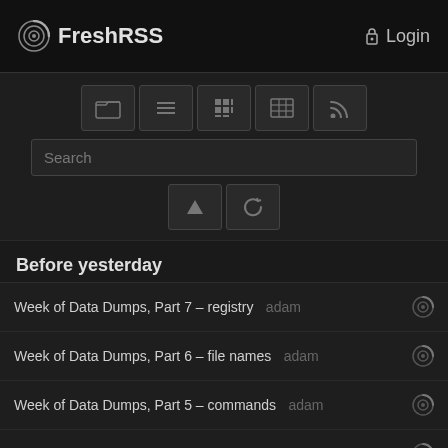FreshRSS  Login
[Figure (screenshot): Toolbar with folder, list, grid, table, and RSS feed icons; a search bar; and up/refresh action buttons]
Before yesterday
Week of Data Dumps, Part 7 – registry  adam
Week of Data Dumps, Part 6 – file names  adam
Week of Data Dumps, Part 5 – commands  adam
Week of Data Dumps, Part 4 – games-related strings…